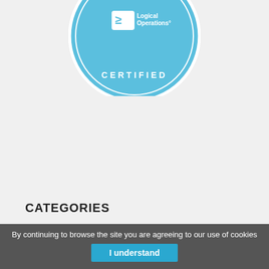[Figure (logo): Logical Operations Certified badge/seal — circular light blue badge with white text reading 'Logical Operations' and 'CERTIFIED' at the bottom, partially cropped at top]
CATEGORIES
Collaboration And Convergence
By continuing to browse the site you are agreeing to our use of cookies
I understand